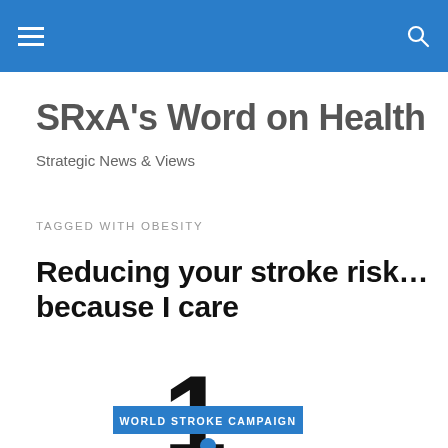SRxA's Word on Health — navigation bar with hamburger menu and search icon
SRxA's Word on Health
Strategic News & Views
TAGGED WITH OBESITY
Reducing your stroke risk… because I care
[Figure (infographic): World Stroke Campaign infographic showing large number '1' in black with a blue dot and text 'WORLD STROKE CAMPAIGN' on a blue banner, partially visible at bottom of page]